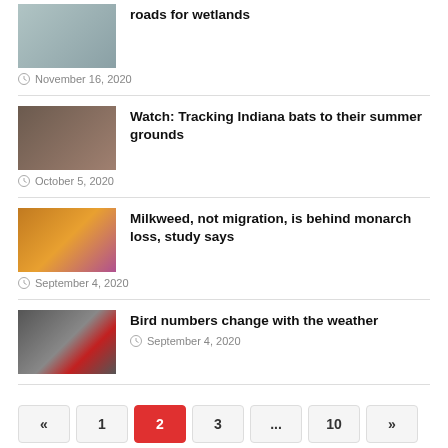roads for wetlands
November 16, 2020
Watch: Tracking Indiana bats to their summer grounds
October 5, 2020
Milkweed, not migration, is behind monarch loss, study says
September 4, 2020
Bird numbers change with the weather
September 4, 2020
« 1 2 3 ... 10 »